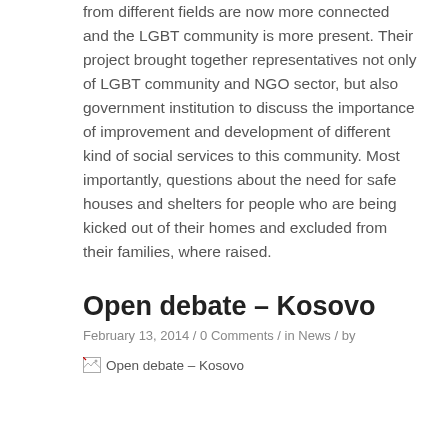from different fields are now more connected and the LGBT community is more present. Their project brought together representatives not only of LGBT community and NGO sector, but also government institution to discuss the importance of improvement and development of different kind of social services to this community. Most importantly, questions about the need for safe houses and shelters for people who are being kicked out of their homes and excluded from their families, where raised.
Open debate – Kosovo
February 13, 2014 / 0 Comments / in News / by
[Figure (photo): Broken image placeholder with alt text 'Open debate – Kosovo']